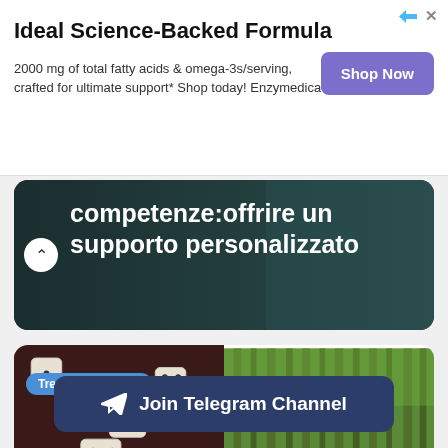[Figure (infographic): Advertisement banner: Ideal Science-Backed Formula with Shop Now button]
Ideal Science-Backed Formula
2000 mg of total fatty acids & omega-3s/serving, crafted for ultimate support* Shop today! Enzymedica®
[Figure (screenshot): Dark card with Italian text: competenze:offrire un supporto personalizzato, with chevron arrow button]
[Figure (photo): Two-panel course card: left panel shows dice on dark background with Trending Courses badge, right panel shows green forest trees]
01 d...
Join Telegram Channel